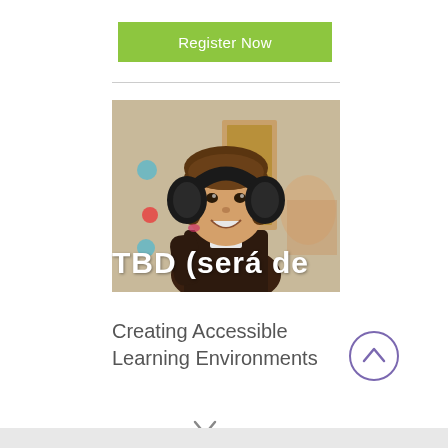Register Now
[Figure (photo): A young girl smiling and wearing large black headphones in a classroom setting, with blurred background showing colorful decorations and other students]
TBD (será de
Creating Accessible Learning Environments